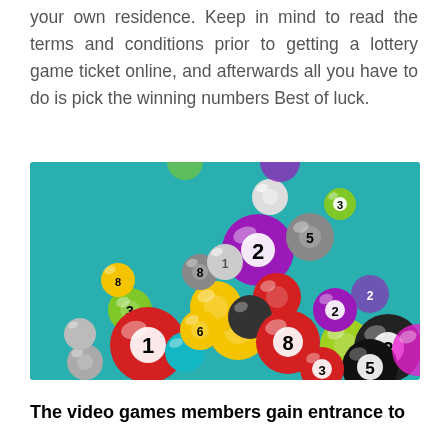your own residence. Keep in mind to read the terms and conditions prior to getting a lottery game ticket online, and afterwards all you have to do is pick the winning numbers Best of luck.
[Figure (illustration): Colorful lottery balls with numbers (1, 2, 3, 5, 8, etc.) scattered on a teal/turquoise background, rendered in a 3D glossy style.]
The video games members gain entrance to